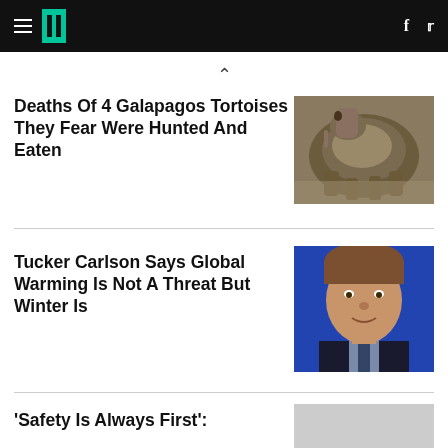HuffPost navigation — hamburger menu, logo, facebook and twitter icons
^
Deaths Of 4 Galapagos Tortoises They Fear Were Hunted And Eaten
[Figure (photo): Close-up photo of a Galapagos tortoise on rocky ground]
Tucker Carlson Says Global Warming Is Not A Threat But Winter Is
[Figure (photo): Photo of Tucker Carlson against a blue background, speaking]
'Safety Is Always First':